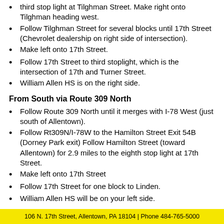Follow 15th Street to the third stop light, then straight to the third stop light at Tilghman Street. Make right onto Tilghman heading west.
Follow Tilghman Street for several blocks until 17th Street (Chevrolet dealership on right side of intersection).
Make left onto 17th Street.
Follow 17th Street to third stoplight, which is the intersection of 17th and Turner Street.
William Allen HS is on the right side.
From South via Route 309 North
Follow Route 309 North until it merges with I-78 West (just south of Allentown).
Follow Rt309N/I-78W to the Hamilton Street Exit 54B (Dorney Park exit) Follow Hamilton Street (toward Allentown) for 2.9 miles to the eighth stop light at 17th Street.
Make left onto 17th Street
Follow 17th Street for one block to Linden.
William Allen HS will be on your left side.
106 N. 17th Street, Allentown, PA 18104 | Phone 484-765-5000